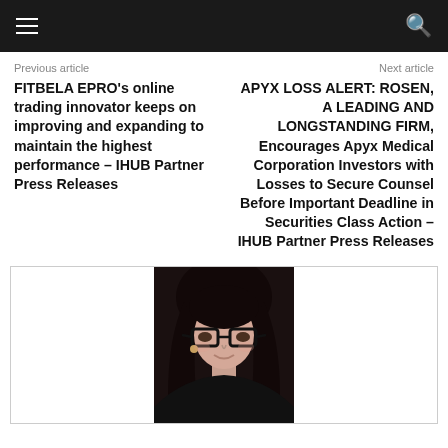Previous article
Next article
FITBELA EPRO's online trading innovator keeps on improving and expanding to maintain the highest performance – IHUB Partner Press Releases
APYX LOSS ALERT: ROSEN, A LEADING AND LONGSTANDING FIRM, Encourages Apyx Medical Corporation Investors with Losses to Secure Counsel Before Important Deadline in Securities Class Action – IHUB Partner Press Releases
[Figure (photo): Headshot of a young woman with long dark curly hair wearing black-framed glasses, smiling slightly]